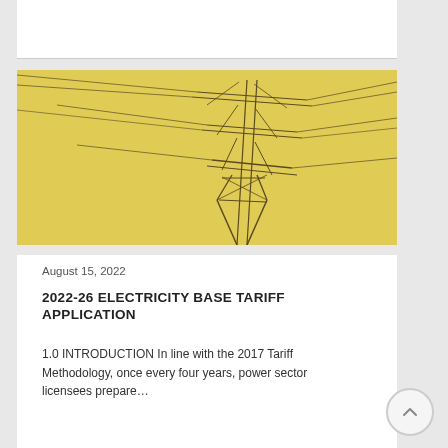[Figure (photo): Electricity transmission tower/pylon against a yellow background, showing power lines extending outward]
August 15, 2022
2022-26 ELECTRICITY BASE TARIFF APPLICATION
1.0 INTRODUCTION In line with the 2017 Tariff Methodology, once every four years, power sector licensees prepare…